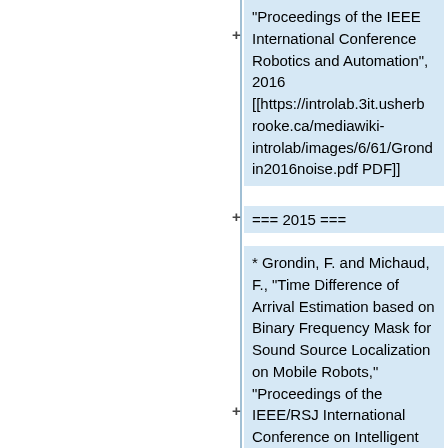"Proceedings of the IEEE International Conference Robotics and Automation", 2016 [[https://introlab.3it.usherbrooke.ca/mediawiki-introlab/images/6/61/Grondin2016noise.pdf PDF]]
=== 2015 ===
* Grondin, F. and Michaud, F., "Time Difference of Arrival Estimation based on Binary Frequency Mask for Sound Source Localization on Mobile Robots," "Proceedings of the IEEE/RSJ International Conference on Intelligent Robots and Systems", 2015 [[https://introlab.3it.usherbrooke.ca/mediawiki-